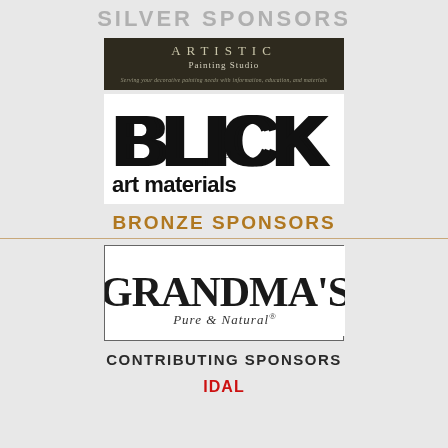SILVER SPONSORS
[Figure (logo): Artistic Painting Studio logo - dark brown background with serif text 'ARTISTIC Painting Studio' and tagline]
[Figure (logo): Blick art materials logo - white background with bold black 'BLICK' and 'art materials' text]
BRONZE SPONSORS
[Figure (logo): Grandma's Pure & Natural logo - white background with border, serif text]
CONTRIBUTING SPONSORS
IDAL